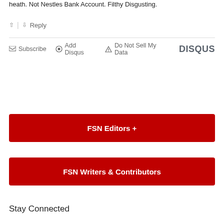heath. Not Nestles Bank Account. Filthy Disgusting.
↑ | ↓  Reply
✉ Subscribe  ● Add Disqus  ▲ Do Not Sell My Data  DISQUS
FSN Editors +
FSN Writers & Contributors
Stay Connected